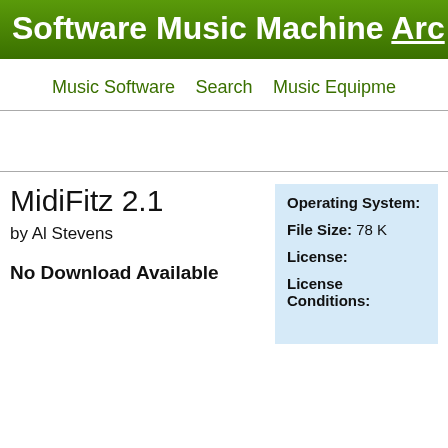Software Music Machine Arc
Music Software  Search  Music Equipment
MidiFitz 2.1
by Al Stevens
No Download Available
| Operating System: |  |
| File Size: | 78 K |
| License: |  |
| License Conditions: |  |